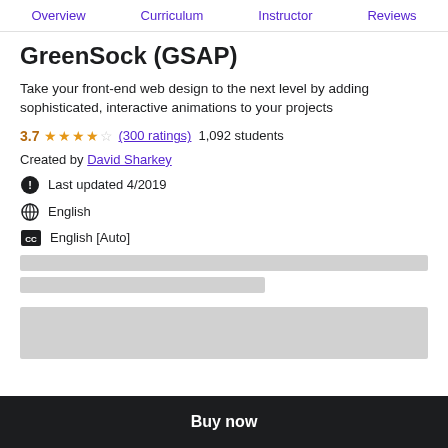Overview  Curriculum  Instructor  Reviews
GreenSock (GSAP)
Take your front-end web design to the next level by adding sophisticated, interactive animations to your projects
3.7 ★★★½☆ (300 ratings)  1,092 students
Created by David Sharkey
Last updated 4/2019
English
English [Auto]
[Figure (other): Skeleton loading placeholders for course content sections]
Buy now